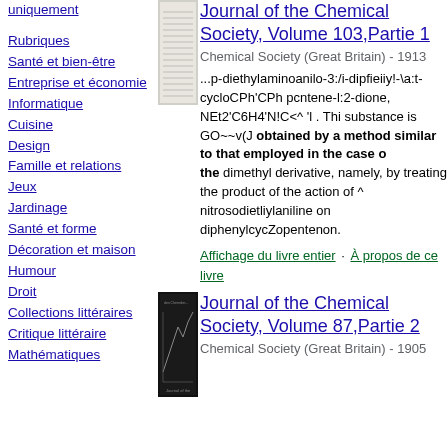uniquement
Rubriques
Santé et bien-être
Entreprise et économie
Informatique
Cuisine
Design
Famille et relations
Jeux
Jardinage
Santé et forme
Décoration et maison
Humour
Droit
Collections littéraires
Critique littéraire
Mathématiques
[Figure (photo): Book cover thumbnail for Journal of the Chemical Society, Volume 103]
Journal of the Chemical Society, Volume 103,Partie 1
Chemical Society (Great Britain) - 1913
...p-diethylaminoanilo-3:/i-dipfieiiy!-\a:t-cycloCPh'CPh pcntene-l:2-dione, NEt2'C6H4'N!C<^ 'l . Thi substance is GO~~v(J obtained by a method similar to that employed in the case of the dimethyl derivative, namely, by treating the product of the action of ^ nitrosodietliylaniline on diphenylcycZopentenon.
Affichage du livre entier · À propos de ce livre
[Figure (photo): Book cover thumbnail for Journal of the Chemical Society, Volume 87]
Journal of the Chemical Society, Volume 87,Partie 2
Chemical Society (Great Britain) - 1905